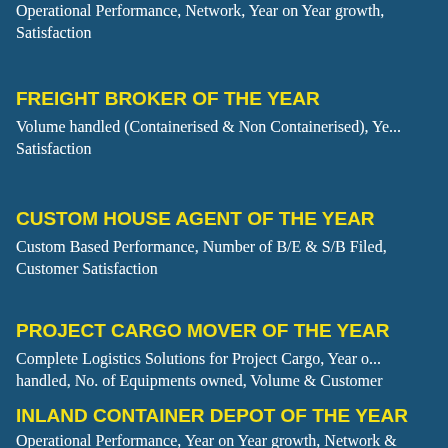Operational Performance, Network, Year on Year growth, Satisfaction
FREIGHT BROKER OF THE YEAR
Volume handled (Containerised & Non Containerised), Year on Year growth, Customer Satisfaction
CUSTOM HOUSE AGENT OF THE YEAR
Custom Based Performance, Number of B/E & S/B Filed, Customer Satisfaction
PROJECT CARGO MOVER OF THE YEAR
Complete Logistics Solutions for Project Cargo, Year on Year growth, Volume handled, No. of Equipments owned, Volume & Customer Satisfaction
INLAND CONTAINER DEPOT OF THE YEAR
Operational Performance, Year on Year growth, Network &